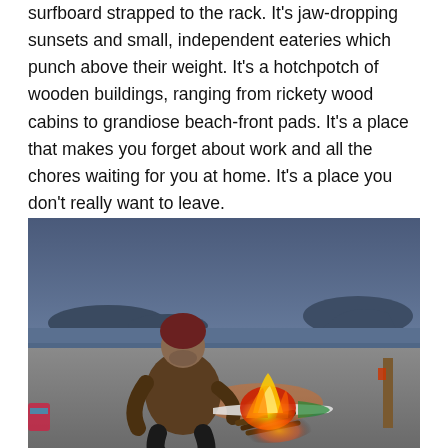surfboard strapped to the rack. It's jaw-dropping sunsets and small, independent eateries which punch above their weight. It's a hotchpotch of wooden buildings, ranging from rickety wood cabins to grandiose beach-front pads. It's a place that makes you forget about work and all the chores waiting for you at home. It's a place you don't really want to leave.
[Figure (photo): A man wearing a dark red beanie and brown sweater sits on a beach at dusk near a campfire. A surfboard lies on the sand behind him. The ocean and distant hills are visible in the blue twilight background.]